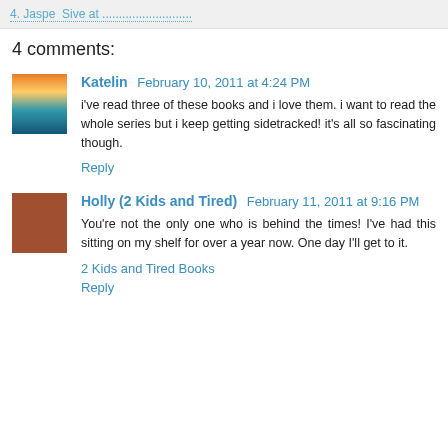4 comments:
Katelin  February 10, 2011 at 4:24 PM
i've read three of these books and i love them. i want to read the whole series but i keep getting sidetracked! it's all so fascinating though.
Reply
Holly (2 Kids and Tired)  February 11, 2011 at 9:16 PM
You're not the only one who is behind the times! I've had this sitting on my shelf for over a year now. One day I'll get to it.
2 Kids and Tired Books
Reply